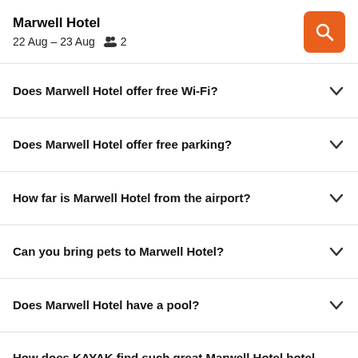Marwell Hotel
22 Aug – 23 Aug  2
Does Marwell Hotel offer free Wi-Fi?
Does Marwell Hotel offer free parking?
How far is Marwell Hotel from the airport?
Can you bring pets to Marwell Hotel?
Does Marwell Hotel have a pool?
How does KAYAK find such great Marwell Hotel hotel deals?